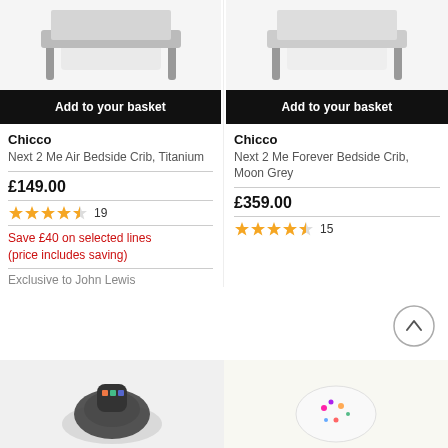[Figure (photo): Product photo of Chicco Next 2 Me Air Bedside Crib in Titanium (partially visible, top cropped)]
Add to your basket
Chicco
Next 2 Me Air Bedside Crib, Titanium
£149.00
[Figure (other): 4.5 star rating, 19 reviews]
Save £40 on selected lines (price includes saving)
Exclusive to John Lewis
[Figure (photo): Product photo of Chicco Next 2 Me Forever Bedside Crib in Moon Grey (partially visible, top cropped)]
Add to your basket
Chicco
Next 2 Me Forever Bedside Crib, Moon Grey
£359.00
[Figure (other): 4.5 star rating, 15 reviews]
[Figure (photo): Product photo bottom left (dark baby product, partially visible)]
[Figure (photo): Product photo bottom right (white/floral item, partially visible)]